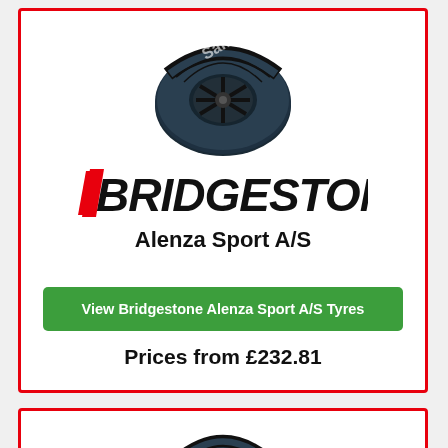[Figure (photo): Bridgestone Alenza Sport A/S tyre image with 'Sample' watermark]
[Figure (logo): Bridgestone logo - black bold text with red diagonal slash on B]
Alenza Sport A/S
View Bridgestone Alenza Sport A/S Tyres
Prices from £232.81
[Figure (photo): Second tyre product image, partially visible at bottom]